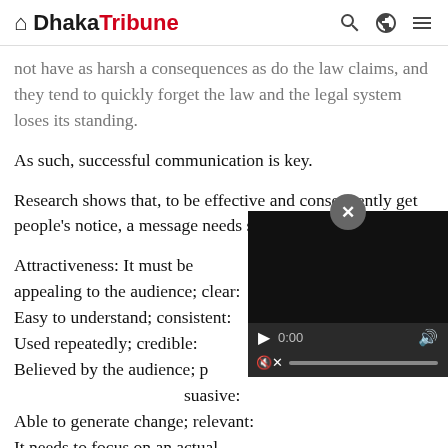Dhaka Tribune
not have as harsh a consequences as do the law claims, and they tend to quickly forget the law and the legal system loses its standing.
As such, successful communication is key.
Research shows that, to be effective and consequently get people's notice, a message needs seven traits:
Attractiveness: It must be appealing to the audience; clear: Easy to understand; consistent: Used repeatedly; credible: Believed by the audience; persuasive: Able to generate change; relevant: It needs to focus on an actual problem; and trustworthy: The information presented should be possible to act on.
And last but not the least, the presenter him/herself also needs to be credible and trustworthy.
The circular in question lacks most of these. The following shortcomings may be noted: It is a written message in formal Bengali, which is not easy for the greater mass to appreciate. It is thus not an
[Figure (screenshot): Embedded video player overlay with close (x) button, play button, 0:00 time display, volume icon, and mute/progress bar controls on dark background.]